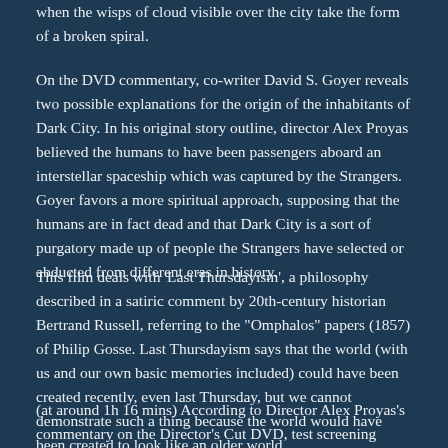when the wisps of cloud visible over the city take the form of a broken spiral.
On the DVD commentary, co-writer David S. Goyer reveals two possible explanations for the origin of the inhabitants of Dark City. In his original story outline, director Alex Proyas believed the humans to have been passengers aboard an interstellar spaceship which was captured by the Strangers. Goyer favors a more spiritual approach, supposing that the humans are in fact dead and that Dark City is a sort of purgatory made up of people the Strangers have selected or abducted from different eras in history.
This film deals with 'Last Thursdayism', a philosophy described in a satiric comment by 20th-century historian Bertrand Russell, referring to the "Omphalos" papers (1857) of Philip Gosse. Last Thursdayism says that the world (with us and our own basic memories included) could have been created recently, even last Thursday, but we cannot demonstrate such a thing because the world would have been created to look like an older world.
(at around 1h 16 mins) According to Director Alex Proyas's commentary on the Director's Cut DVD, test screening audiences were "troubled" by the notion that the entire city